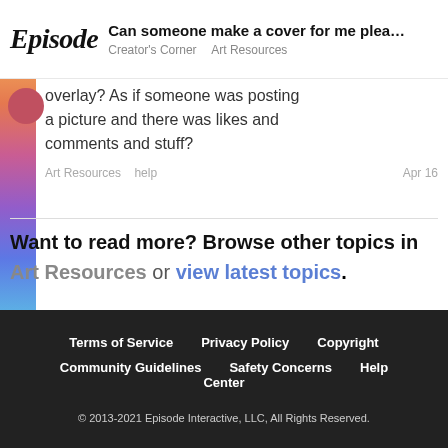Can someone make a cover for me plea... | Creator's Corner  Art Resources
overlay? As if someone was posting a picture and there was likes and comments and stuff?
Art Resources   help   Apr 16
Want to read more? Browse other topics in Art Resources or view latest topics.
Terms of Service   Privacy Policy   Copyright   Community Guidelines   Safety Concerns   Help Center   © 2013-2021 Episode Interactive, LLC, All Rights Reserved.